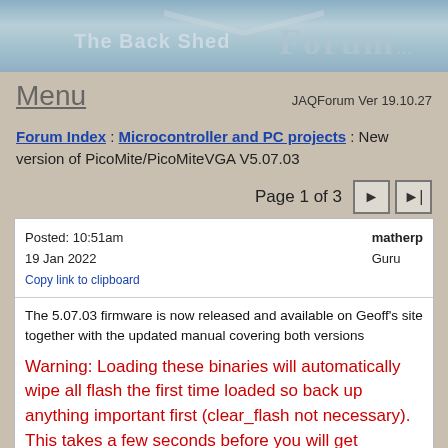[Figure (illustration): The Back Shed Forum banner with blue/grey sky background, showing 'The Back Shed' and 'Forum...' text logo]
Menu
JAQForum Ver 19.10.27
Forum Index : Microcontroller and PC projects : New version of PicoMite/PicoMiteVGA V5.07.03
Page 1 of 3
Posted: 10:51am
19 Jan 2022
Copy link to clipboard
matherp
Guru
The 5.07.03 firmware is now released and available on Geoff's site together with the updated manual covering both versions
Warning: Loading these binaries will automatically wipe all flash the first time loaded so back up anything important first (clear_flash not necessary). This takes a few seconds before you will get